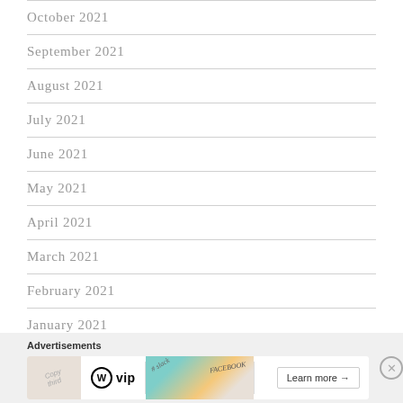October 2021
September 2021
August 2021
July 2021
June 2021
May 2021
April 2021
March 2021
February 2021
January 2021
[Figure (screenshot): Advertisement banner featuring WordPress VIP logo and a 'Learn more' button with colorful background imagery including Slack and Facebook branding elements]